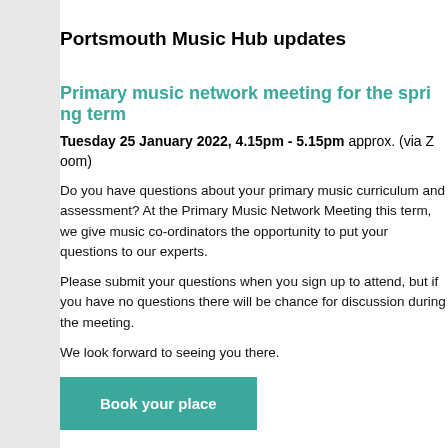Portsmouth Music Hub updates
Primary music network meeting for the spring term
Tuesday 25 January 2022, 4.15pm - 5.15pm approx. (via Zoom)
Do you have questions about your primary music curriculum and assessment? At the Primary Music Network Meeting this term, we give music co-ordinators the opportunity to put your questions to our experts.
Please submit your questions when you sign up to attend, but if you have no questions there will be chance for discussion during the meeting.
We look forward to seeing you there.
Book your place
Portsmouth Music Hub launches 5-year music strategy
Wednesday 12 January 2022 saw the launch of the Music Hub Strategy, which aims to set out its plans to develop equality, diversity and inclusion.